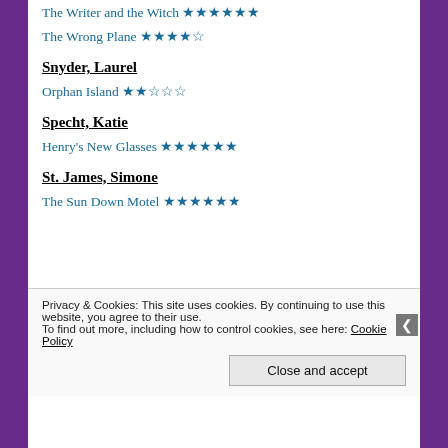The Writer and the Witch ★★★★★★
The Wrong Plane ★★★★☆
Snyder, Laurel
Orphan Island ★★☆☆☆
Specht, Katie
Henry's New Glasses ★★★★★★
St. James, Simone
The Sun Down Motel ★★★★★★
Privacy & Cookies: This site uses cookies. By continuing to use this website, you agree to their use. To find out more, including how to control cookies, see here: Cookie Policy
Close and accept